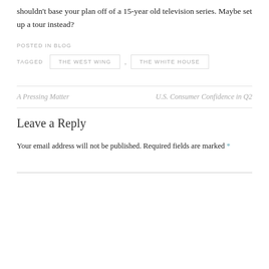shouldn’t base your plan off of a 15-year old television series. Maybe set up a tour instead?
POSTED IN BLOG
TAGGED   THE WEST WING ,  THE WHITE HOUSE
A Pressing Matter
U.S. Consumer Confidence in Q2
Leave a Reply
Your email address will not be published. Required fields are marked *